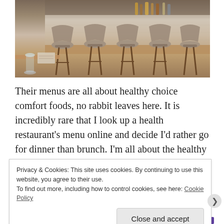[Figure (photo): Interior of a bar/restaurant showing a row of mid-century modern bar stools with grey upholstered seats and dark wood frames lined up along a worn white-painted wooden bar. A glass and small book are visible on the wooden table in the foreground. Bottles and bar equipment are visible in the background.]
Their menus are all about healthy choice comfort foods, no rabbit leaves here. It is incredibly rare that I look up a health restaurant's menu online and decide I'd rather go for dinner than brunch. I'm all about the healthy brunches – homemade granola, smoothies and (if all else fails) avo on toast – but Farmacy's evening menu was unmissable.
Privacy & Cookies: This site uses cookies. By continuing to use this website, you agree to their use.
To find out more, including how to control cookies, see here: Cookie Policy

Close and accept